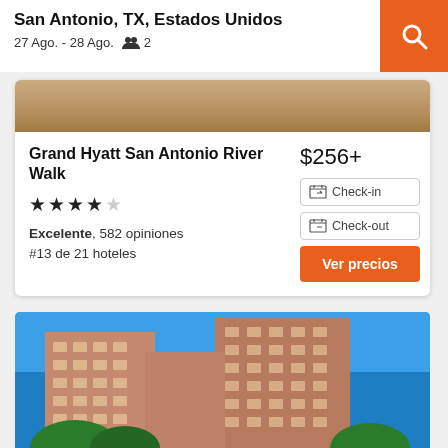San Antonio, TX, Estados Unidos
27 Ago. - 28 Ago.  👥 2
[Figure (photo): Top portion of a hotel room/pool photo cropped]
Grand Hyatt San Antonio River Walk
$256+
★★★★☆
Excelente, 582 opiniones
#13 de 21 hoteles
Check-in
Check-out
Ver precios
[Figure (photo): Tall brick hotel building photographed from below against blue sky with trees visible at bottom]